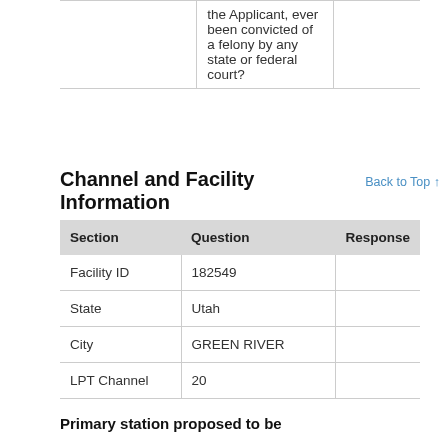| Section | Question | Response |
| --- | --- | --- |
|  | the Applicant, ever been convicted of a felony by any state or federal court? |  |
Channel and Facility Information
| Section | Question | Response |
| --- | --- | --- |
| Facility ID | 182549 |  |
| State | Utah |  |
| City | GREEN RIVER |  |
| LPT Channel | 20 |  |
Primary station proposed to be